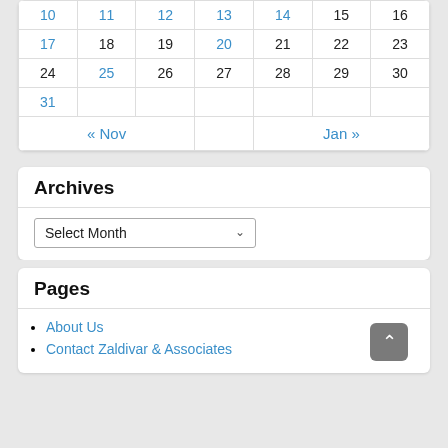| 10 | 11 | 12 | 13 | 14 | 15 | 16 |
| 17 | 18 | 19 | 20 | 21 | 22 | 23 |
| 24 | 25 | 26 | 27 | 28 | 29 | 30 |
| 31 |  |  |  |  |  |  |
| « Nov |  |  |  |  | Jan » |  |
Archives
Select Month
Pages
About Us
Contact Zaldivar & Associates